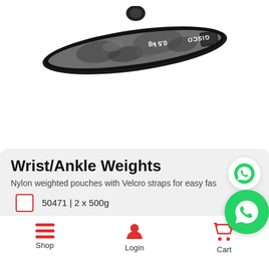[Figure (photo): GISCO brand ankle/wrist weight strap in grey camouflage pattern, labeled 0.5 kg, shown upside down on white background]
Wrist/Ankle Weights
Nylon weighted pouches with Velcro straps for easy fas
50471 | 2 x 500g
Shop   Login   Cart